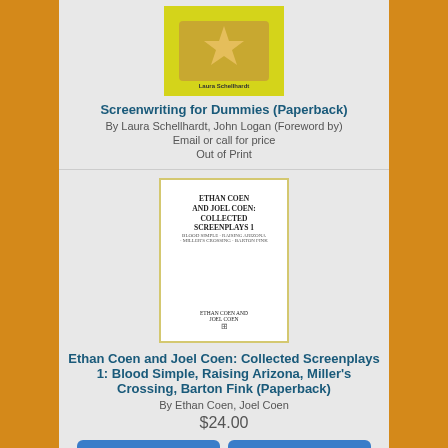[Figure (photo): Book cover for Screenwriting for Dummies - yellow cover with a Hollywood Walk of Fame star]
Screenwriting for Dummies (Paperback)
By Laura Schellhardt, John Logan (Foreword by)
Email or call for price
Out of Print
[Figure (photo): Book cover for Ethan Coen and Joel Coen: Collected Screenplays 1 - white cover with text]
Ethan Coen and Joel Coen: Collected Screenplays 1: Blood Simple, Raising Arizona, Miller's Crossing, Barton Fink (Paperback)
By Ethan Coen, Joel Coen
$24.00
Add to Cart
Add to Wish List